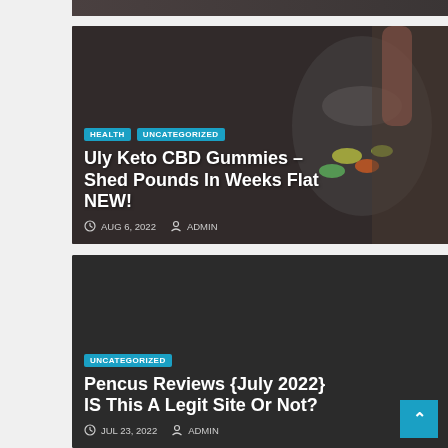[Figure (photo): Cropped top portion of a person holding a jar of colorful gummy candies, dark background]
HEALTH   UNCATEGORIZED
Uly Keto CBD Gummies – Shed Pounds In Weeks Flat NEW!
AUG 6, 2022   ADMIN
[Figure (photo): Dark background blog post card with no visible photo]
UNCATEGORIZED
Pencus Reviews {July 2022} IS This A Legit Site Or Not?
JUL 23, 2022   ADMIN